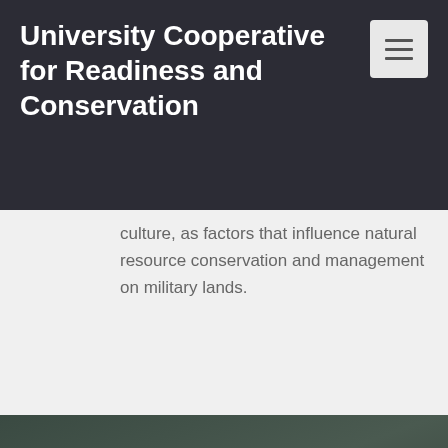University Cooperative for Readiness and Conservation
culture, as factors that influence natural resource conservation and management on military lands.
Coming together is a beginning.  Keeping together is progress.  Working together is Success.
HENRY FORD